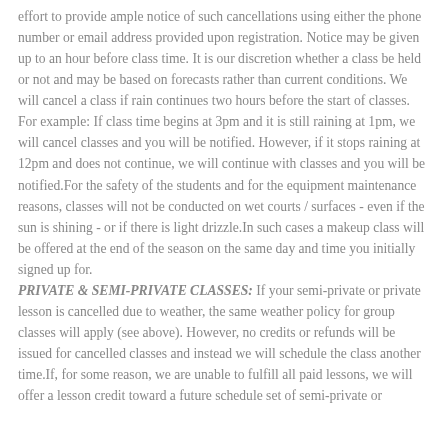effort to provide ample notice of such cancellations using either the phone number or email address provided upon registration. Notice may be given up to an hour before class time. It is our discretion whether a class be held or not and may be based on forecasts rather than current conditions. We will cancel a class if rain continues two hours before the start of classes. For example: If class time begins at 3pm and it is still raining at 1pm, we will cancel classes and you will be notified. However, if it stops raining at 12pm and does not continue, we will continue with classes and you will be notified.For the safety of the students and for the equipment maintenance reasons, classes will not be conducted on wet courts / surfaces - even if the sun is shining - or if there is light drizzle.In such cases a makeup class will be offered at the end of the season on the same day and time you initially signed up for.
PRIVATE & SEMI-PRIVATE CLASSES: If your semi-private or private lesson is cancelled due to weather, the same weather policy for group classes will apply (see above). However, no credits or refunds will be issued for cancelled classes and instead we will schedule the class another time.If, for some reason, we are unable to fulfill all paid lessons, we will offer a lesson credit toward a future schedule set of semi-private or